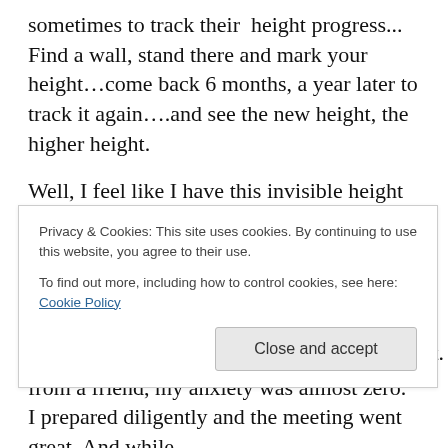sometimes to track their height progress... Find a wall, stand there and mark your height…come back 6 months, a year later to track it again….and see the new height, the higher height.
Well, I feel like I have this invisible height track monitor at work and yesterday, I noticed I had grown. A lot.
I had a meeting that I had been anxious about earlier in the week. After much preparation and some encouraging words from a friend, my anxiety was almost zero.  I prepared diligently and the meeting went great. And while
Privacy & Cookies: This site uses cookies. By continuing to use this website, you agree to their use.
To find out more, including how to control cookies, see here: Cookie Policy
Close and accept
prepared diligently and the meeting went great. And while